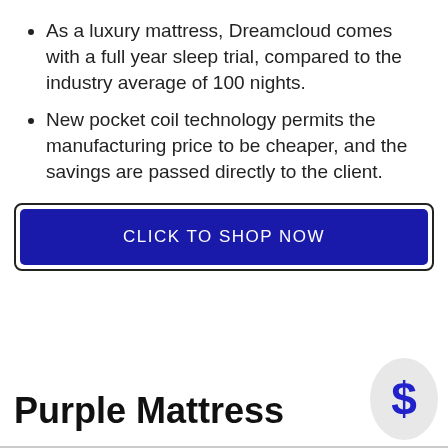As a luxury mattress, Dreamcloud comes with a full year sleep trial, compared to the industry average of 100 nights.
New pocket coil technology permits the manufacturing price to be cheaper, and the savings are passed directly to the client.
CLICK TO SHOP NOW
Purple Mattress